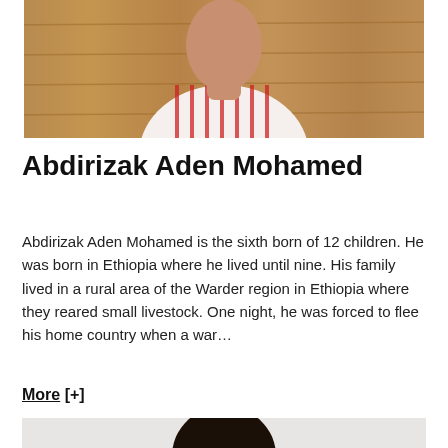[Figure (photo): Portrait photo of Abdirizak Aden Mohamed, a man wearing a white shirt with red stripes, seated in front of a wooden wall background. Only the upper body is visible.]
Abdirizak Aden Mohamed
Abdirizak Aden Mohamed is the sixth born of 12 children. He was born in Ethiopia where he lived until nine. His family lived in a rural area of the Warder region in Ethiopia where they reared small livestock. One night, he was forced to flee his home country when a war…
More [+]
[Figure (photo): Portrait photo of a second person, a dark-skinned man with a shaved head, visible from the top of the head and eyes, against a light grey/white background.]